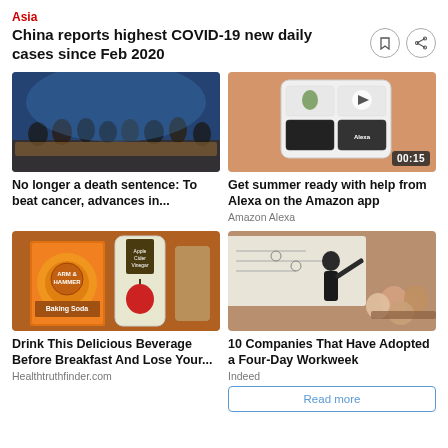Asia
China reports highest COVID-19 new daily cases since Feb 2020
[Figure (photo): Group of people seated and standing in a conference/panel setting with blue lighting behind them]
No longer a death sentence: To beat cancer, advances in...
[Figure (photo): Hand holding a smartphone showing Amazon app interface with Alexa and products; video badge showing 00:15]
Get summer ready with help from Alexa on the Amazon app
Amazon Alexa
[Figure (photo): Arm & Hammer Pure Baking Soda box next to a bottle of Organic Apple Cider Vinegar with apples]
Drink This Delicious Beverage Before Breakfast And Lose Your...
Healthtruthfinder.com
[Figure (photo): A man presenting in front of a whiteboard to a group of seated people in a modern workspace]
10 Companies That Have Adopted a Four-Day Workweek
Indeed
Read more